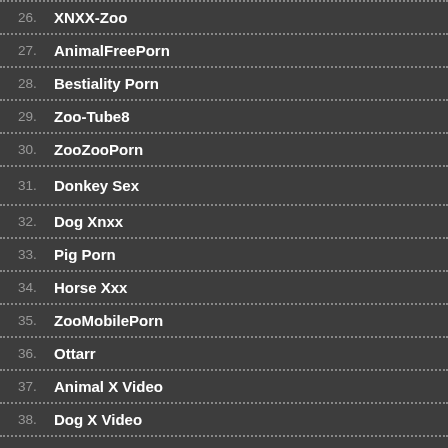26. XNXX-Zoo
27. AnimalFreePorn
28. Bestiality Porn
29. Zoo-Tube8
30. ZooZooPorn
31. Donkey Sex
32. Dog Xnxx
33. Pig Porn
34. Horse Xxx
35. ZooMobilePorn
36. Ottarr
37. Animal X Video
38. Dog X Video
39. Zoo Porn